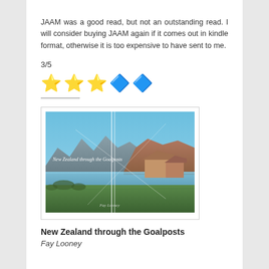JAAM was a good read, but not an outstanding read. I will consider buying JAAM again if it comes out in kindle format, otherwise it is too expensive to have sent to me.
3/5
[Figure (other): Five stars rating display: three yellow stars and two blue stars]
[Figure (photo): Book cover of 'New Zealand through the Goalposts' by Fay Looney, showing a landscape with mountains, lake, grass and goalposts]
New Zealand through the Goalposts
Fay Looney